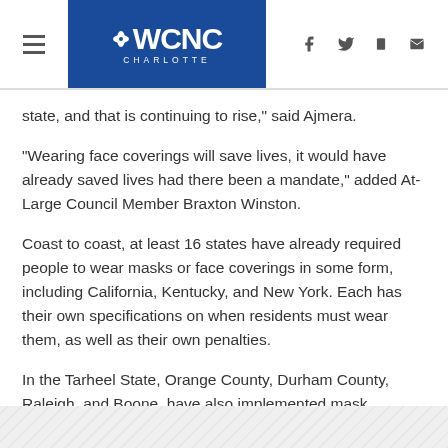WCNC Charlotte
state, and that is continuing to rise," said Ajmera.
"Wearing face coverings will save lives, it would have already saved lives had there been a mandate," added At-Large Council Member Braxton Winston.
Coast to coast, at least 16 states have already required people to wear masks or face coverings in some form, including California, Kentucky, and New York. Each has their own specifications on when residents must wear them, as well as their own penalties.
In the Tarheel State, Orange County, Durham County, Raleigh, and Boone, have also implemented mask mandates. Greensboro city leaders also issued an emergency order requiring face masks in public.